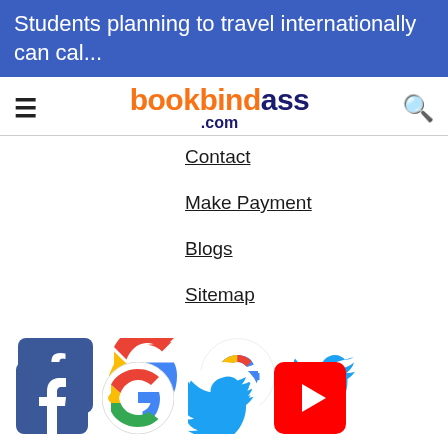Students planning to travel internationally can cal...
[Figure (logo): bookbindass.com logo with hamburger menu and search icon]
Contact
Make Payment
Blogs
Sitemap
[Figure (logo): Social media icons: Facebook, Google, Twitter, YouTube]